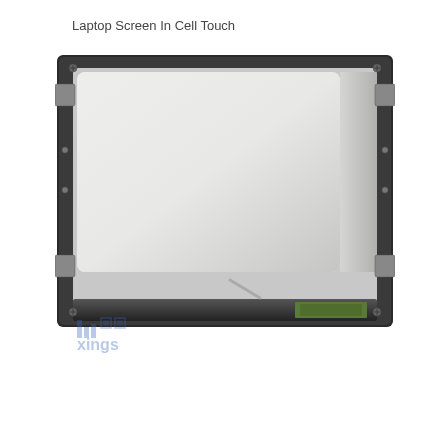Laptop Screen In Cell Touch
[Figure (photo): A laptop LCD screen module shown from the front/back, displaying a flat rectangular panel with silver/metallic frame. The screen has a bezel with mounting brackets on corners, and shows a circuit board connector strip at the bottom. The panel face is light silvery-white. A watermark logo 'lcdxings' appears in the lower left corner.]